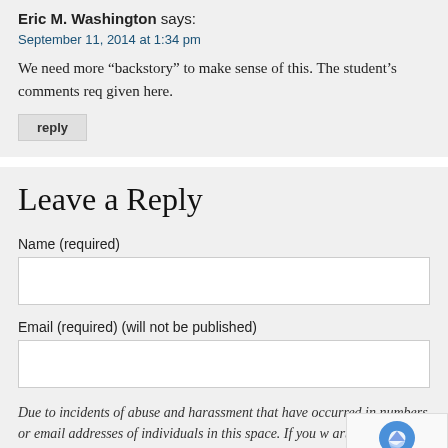Eric M. Washington says:
September 11, 2014 at 1:34 pm
We need more “backstory” to make sense of this. The student’s comments req given here.
reply
Leave a Reply
Name (required)
Email (required) (will not be published)
Due to incidents of abuse and harassment that have occurred in numbers or email addresses of individuals in this space. If you w article, we suggest you contact them directly not in an open forum.